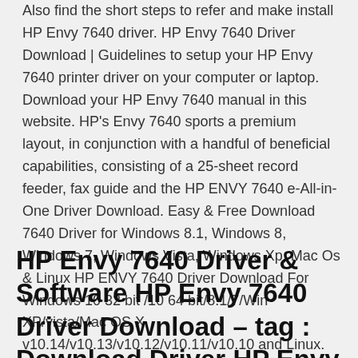Also find the short steps to refer and make install HP Envy 7640 driver. HP Envy 7640 Driver Download | Guidelines to setup your HP Envy 7640 printer driver on your computer or laptop. Download your HP Envy 7640 manual in this website. HP's Envy 7640 sports a premium layout, in conjunction with a handful of beneficial capabilities, consisting of a 25-sheet record feeder, fax guide and the HP ENVY 7640 e-All-in-One Driver Download. Easy & Free Download 7640 Driver for Windows 8.1, Windows 8, Windows 7, Windows Vista, Windows Xp, Mac Os & Linux HP ENVY 7640 Driver Download For Windows 10 32 bit /10 64 bit/8.1/7/Win XP/vista/Mac OS X v10.14/v10.13/v10.12/v10.11/v10.10 and Linux.
HP Envy 7640 Driver & Software HP Envy 7640 Driver Download – tag : Download Driver HP Envy 7640, HP